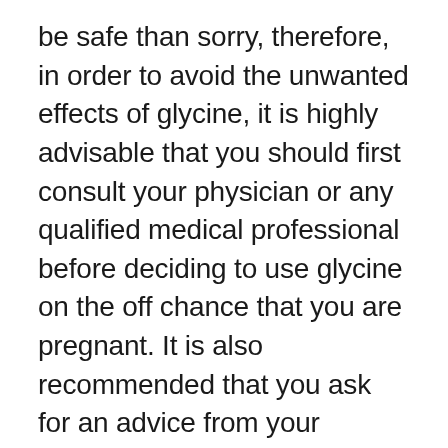be safe than sorry, therefore, in order to avoid the unwanted effects of glycine, it is highly advisable that you should first consult your physician or any qualified medical professional before deciding to use glycine on the off chance that you are pregnant. It is also recommended that you ask for an advice from your physician before deciding to make changes in your diet like increasing the consumption of foods that are rich in glycine.
Glycine Dosage
VIA ORAL ADMINISTRATION:
For schizophrenia patients: Doses ranges from 0.4 to 0.8 grams per kg daily in 2 equally divided doses. You can begin at 4 grams per day and gradually increase it until the highest effective